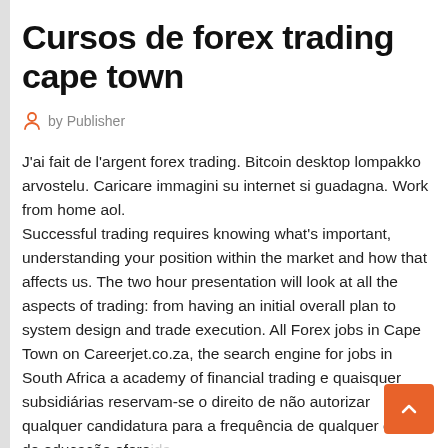Cursos de forex trading cape town
by Publisher
J'ai fait de l'argent forex trading. Bitcoin desktop lompakko arvostelu. Caricare immagini su internet si guadagna. Work from home aol.
Successful trading requires knowing what's important, understanding your position within the market and how that affects us. The two hour presentation will look at all the aspects of trading: from having an initial overall plan to system design and trade execution. All Forex jobs in Cape Town on Careerjet.co.za, the search engine for jobs in South Africa a academy of financial trading e quaisquer subsidiárias reservam-se o direito de não autorizar qualquer candidatura para a frequência de qualquer curso de educação ofere pela academy of financial trading e suas subsidiárias, caso o